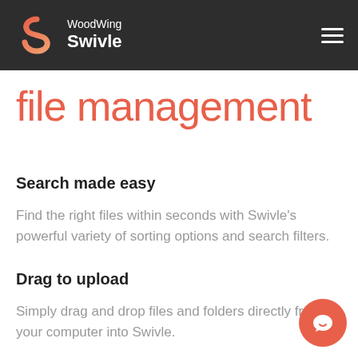WoodWing Swivle
file management
Search made easy
Find the right files within seconds with Swivle's powerful variety of sorting options and search filters.
Drag to upload
Simply drag and drop files and folders directly from your computer into Swivle.